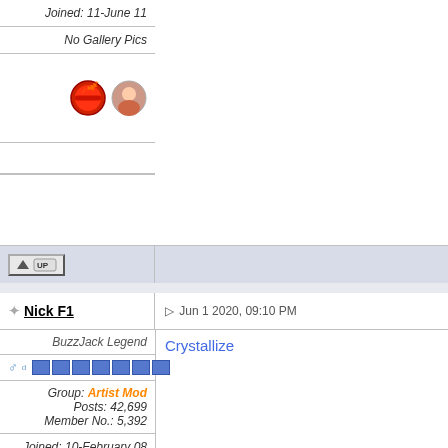Joined: 11-June 11
No Gallery Pics
[Figure (other): Red stop/ban icon and small avatar image]
[Figure (other): UP button with arrow icon]
Nick F1
Jun 1 2020, 09:10 PM
BuzzJack Legend
[Figure (other): Gender icon and 7 blue reputation boxes]
Group: Artist Mod
Posts: 42,699
Member No.: 5,392
Joined: 10-February 08
User's Gallery
Crystallize
[Figure (photo): Avatar photo of a young man with beard sitting in a car wearing a black t-shirt]